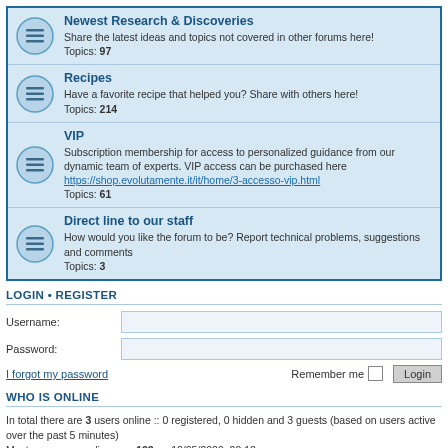Newest Research & Discoveries
Share the latest ideas and topics not covered in other forums here!
Topics: 97
Recipes
Have a favorite recipe that helped you? Share with others here!
Topics: 214
VIP
Subscription membership for access to personalized guidance from our dynamic team of experts. VIP access can be purchased here
https://shop.evolutamente.it/it/home/3-accesso-vip.html
Topics: 61
Direct line to our staff
How would you like the forum to be? Report technical problems, suggestions and comments
Topics: 3
LOGIN • REGISTER
Username:
Password:
I forgot my password
Remember me
WHO IS ONLINE
In total there are 3 users online :: 0 registered, 0 hidden and 3 guests (based on users active over the past 5 minutes)
Most users ever online was 123 on 12/05/2020, 20:12